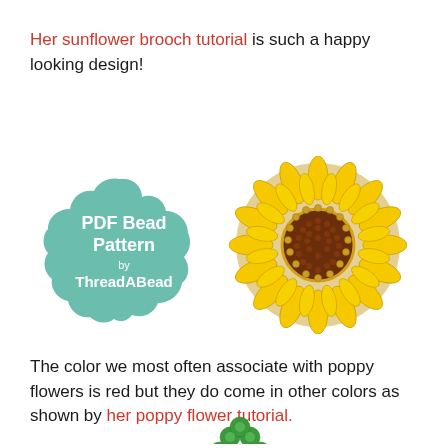Her sunflower brooch tutorial is such a happy looking design!
[Figure (illustration): Teal scalloped/cloud-shaped badge with white text reading 'PDF Bead Pattern by ThreadABead']
[Figure (photo): Beaded sunflower brooch with yellow petals and dark brown center]
The color we most often associate with poppy flowers is red but they do come in other colors as shown by her poppy flower tutorial.
[Figure (illustration): Small green beaded flower/clover at bottom of page, partially visible]